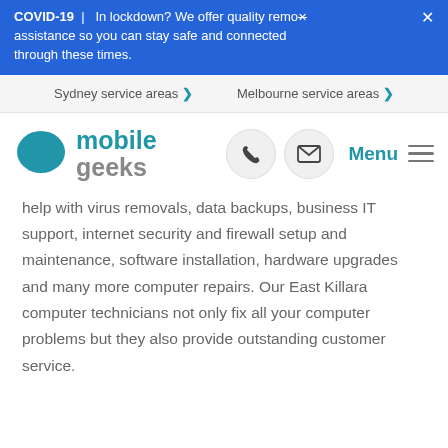COVID-19 | In lockdown? We offer quality remote assistance so you can stay safe and connected through these times.
Sydney service areas >   Melbourne service areas >
[Figure (logo): Mobile Geeks logo: teal speech bubble icon with text 'mobile geeks', phone icon circle, email icon circle, Menu with hamburger icon]
help with virus removals, data backups, business IT support, internet security and firewall setup and maintenance, software installation, hardware upgrades and many more computer repairs. Our East Killara computer technicians not only fix all your computer problems but they also provide outstanding customer service.